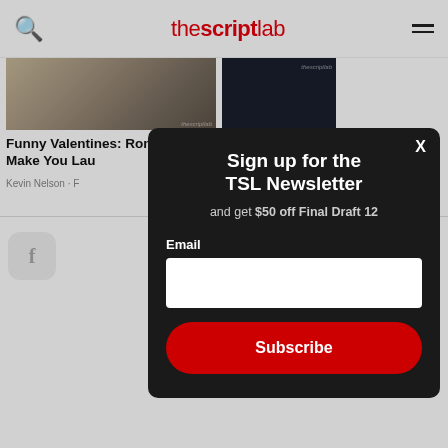thescriptlab
[Figure (screenshot): Thumbnail image for article about Funny Valentines Rom-Coms — brownish/sepia toned photo]
Funny Valentines: Rom-Coms to Make You Lau
Kevin Nelson · F
[Figure (screenshot): Thumbnail image for The Name of article — dark navy background with thescriptlab watermark]
The Name of
Terms of S
© 2022 The
Sign up for the TSL Newsletter
and get $50 off Final Draft 12
Email
Subscribe